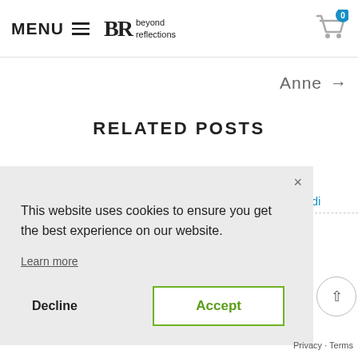MENU ☰  BR beyond reflections  [cart] 0
Anne →
RELATED POSTS
by: Andi
This website uses cookies to ensure you get the best experience on our website.

Learn more
Decline  Accept
Privacy · Terms